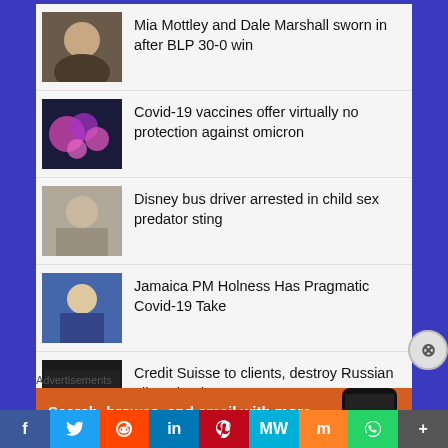Mia Mottley and Dale Marshall sworn in after BLP 30-0 win
Covid-19 vaccines offer virtually no protection against omicron
Disney bus driver arrested in child sex predator sting
Jamaica PM Holness Has Pragmatic Covid-19 Take
Credit Suisse to clients, destroy Russian oligarchs documents
Boris Johnson could be next NATO
Advertisements
[Figure (infographic): DuckDuckGo advertisement banner with orange background showing phone and text: Search, browse, and email with more privacy. All in One Free App]
f  Twitter  Reddit  in  Pinterest  MW  Mix  WhatsApp  +